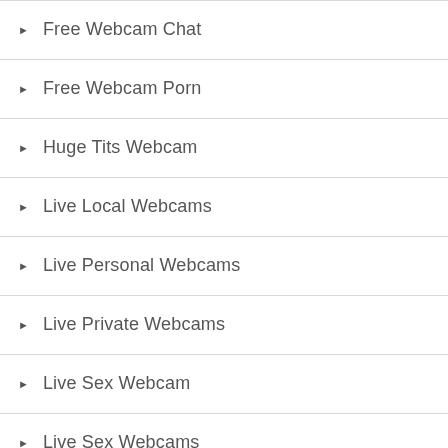Free Webcam Chat
Free Webcam Porn
Huge Tits Webcam
Live Local Webcams
Live Personal Webcams
Live Private Webcams
Live Sex Webcam
Live Sex Webcams
Live Webcam Girls